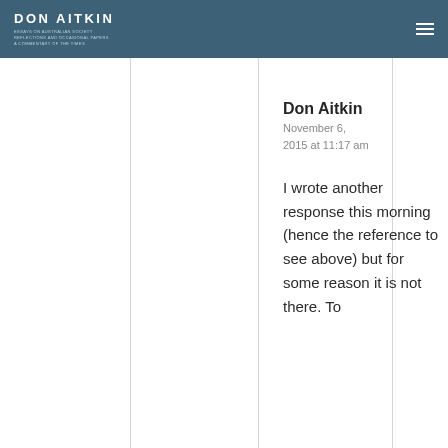DON AITKIN
Don Aitkin
November 6, 2015 at 11:17 am
I wrote another response this morning (hence the reference to see above) but for some reason it is not there. To